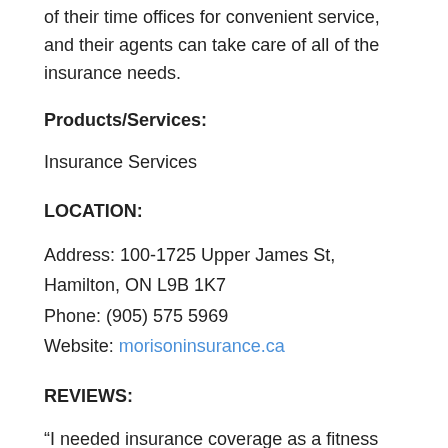of their time offices for convenient service, and their agents can take care of all of the insurance needs.
Products/Services:
Insurance Services
LOCATION:
Address: 100-1725 Upper James St, Hamilton, ON L9B 1K7
Phone: (905) 575 5969
Website: morisoninsurance.ca
REVIEWS:
“I needed insurance coverage as a fitness instructor under short notice. I submitted requests for quotes online and Holly was very quick to respond! She did not waste any time